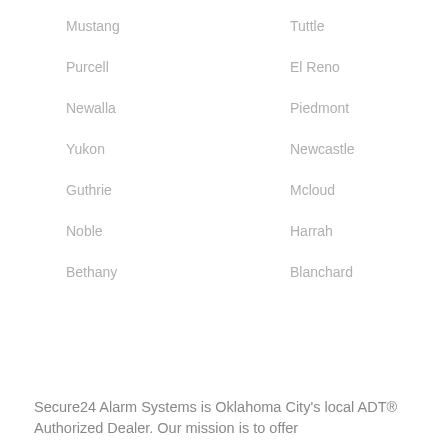Mustang
Tuttle
Purcell
El Reno
Newalla
Piedmont
Yukon
Newcastle
Guthrie
Mcloud
Noble
Harrah
Bethany
Blanchard
Secure24 Alarm Systems is Oklahoma City's local ADT® Authorized Dealer. Our mission is to offer